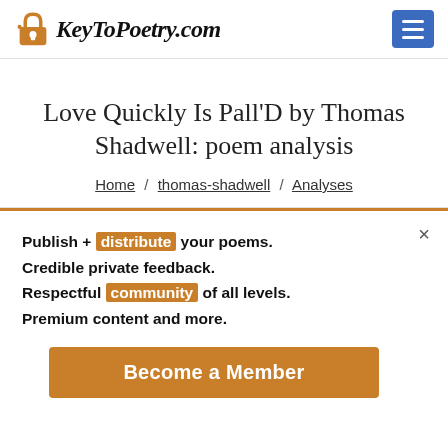KeyToPoetry.com
Love Quickly Is Pall'D by Thomas Shadwell: poem analysis
Home / thomas-shadwell / Analyses
Publish + distribute your poems.
Credible private feedback.
Respectful community of all levels.
Premium content and more.
Become a Member